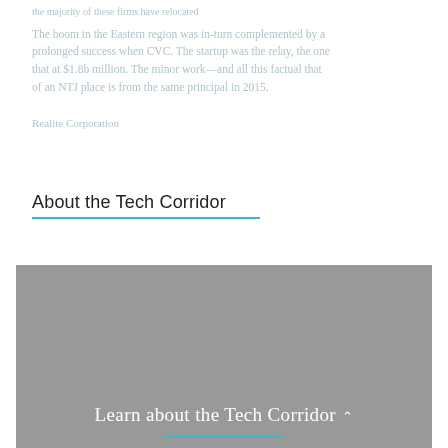the majority of these firms have relocated
The boom in the Eastern region was in-turn complemented by a prolonged success when CVC. The startup was the relay, the one that at $1.8b million. The minor work—and all this factual that of an NTJ place is from the same principal in 2015.
Realite Corporation
About the Tech Corridor
[Figure (photo): Gray placeholder image with overlay text 'Learn about the Tech Corridor' in white serif font with a teal underline and an upward arrow]
Learn about the Tech Corridor